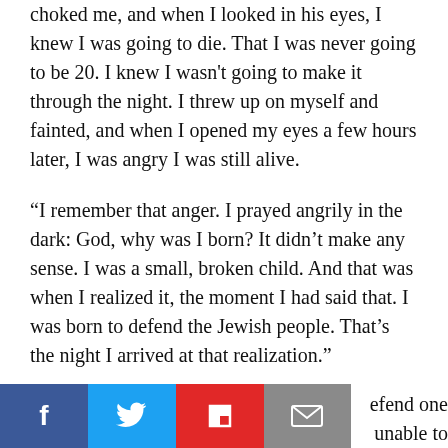choked me, and when I looked in his eyes, I knew I was going to die. That I was never going to be 20. I knew I wasn't going to make it through the night. I threw up on myself and fainted, and when I opened my eyes a few hours later, I was angry I was still alive.
“I remember that anger. I prayed angrily in the dark: God, why was I born? It didn’t make any sense. I was a small, broken child. And that was when I realized it, the moment I had said that. I was born to defend the Jewish people. That’s the night I arrived at that realization.”
Ever since then, Mike Evans has been devoting his life to Israel. He is regarded an important lobbyist in the international arena, he has met American presidents, he has f... “...efend one ...unable to